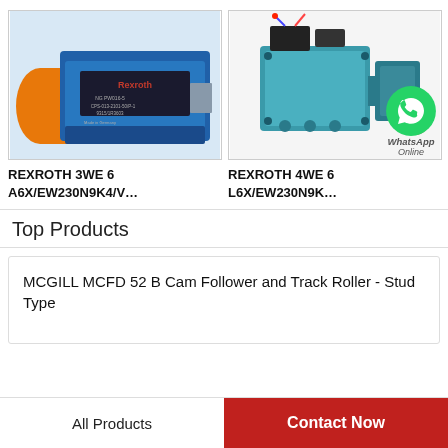[Figure (photo): Rexroth blue directional control valve with orange electric motor attached, on white background]
[Figure (photo): Rexroth teal/blue 4WE 6 directional control valve assembly with pressure relief valve and knob, with WhatsApp Online badge overlay]
REXROTH 3WE 6 A6X/EW230N9K4/V...
REXROTH 4WE 6 L6X/EW230N9K...
Top Products
MCGILL MCFD 52 B Cam Follower and Track Roller - Stud Type
All Products
Contact Now